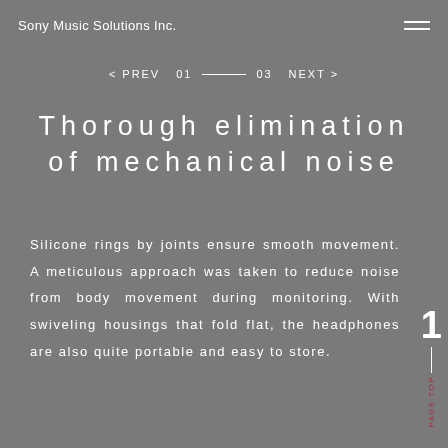Sony Music Solutions Inc.
< PREV   01 ——— 03   NEXT >
Thorough elimination of mechanical noise
Silicone rings by joints ensure smooth movement. A meticulous approach was taken to reduce noise from body movement during monitoring. With swiveling housings that fold flat, the headphones are also quite portable and easy to store.
PAGE TOP 1